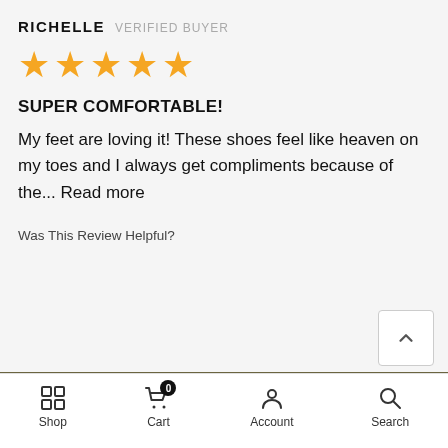RICHELLE VERIFIED BUYER
[Figure (other): Five gold star rating icons]
SUPER COMFORTABLE!
My feet are loving it! These shoes feel like heaven on my toes and I always get compliments because of the... Read more
Was This Review Helpful?
XS
- 1 + ADD TO CART
Shop  Cart  Account  Search